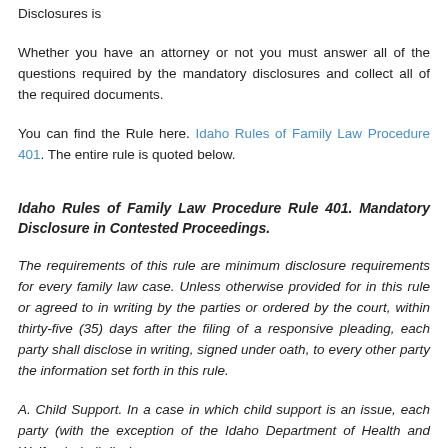Disclosures is
Whether you have an attorney or not you must answer all of the questions required by the mandatory disclosures and collect all of the required documents.
You can find the Rule here. Idaho Rules of Family Law Procedure 401. The entire rule is quoted below.
Idaho Rules of Family Law Procedure Rule 401. Mandatory Disclosure in Contested Proceedings.
The requirements of this rule are minimum disclosure requirements for every family law case. Unless otherwise provided for in this rule or agreed to in writing by the parties or ordered by the court, within thirty-five (35) days after the filing of a responsive pleading, each party shall disclose in writing, signed under oath, to every other party the information set forth in this rule.
A. Child Support. In a case in which child support is an issue, each party (with the exception of the Idaho Department of Health and Welfare) shall disclose